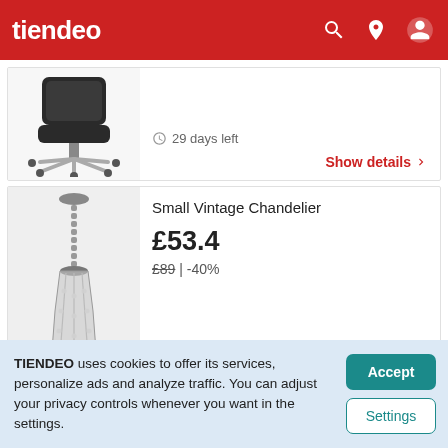tiendeo
[Figure (photo): Black office chair with wheels on white background]
29 days left
Show details >
Small Vintage Chandelier
£53.4
£89 | -40%
[Figure (photo): Small vintage chandelier with crystal beads on light grey background]
TIENDEO uses cookies to offer its services, personalize ads and analyze traffic. You can adjust your privacy controls whenever you want in the settings.